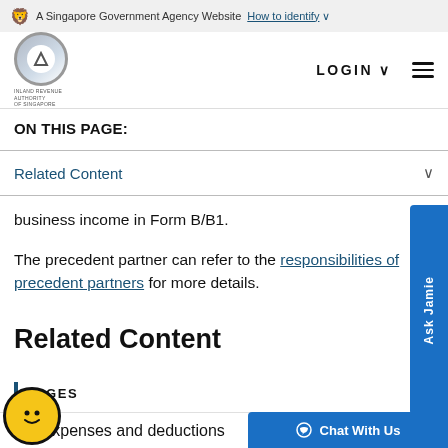A Singapore Government Agency Website  How to identify ∨
[Figure (logo): Inland Revenue Authority of Singapore logo — circular grey logo with white inner circle and navigation arrow, with text INLAND REVENUE AUTHORITY OF SINGAPORE below]
LOGIN ∨  ≡
ON THIS PAGE:
Related Content ∨
business income in Form B/B1.
The precedent partner can refer to the responsibilities of precedent partners for more details.
Related Content
PAGES
ess expenses and deductions